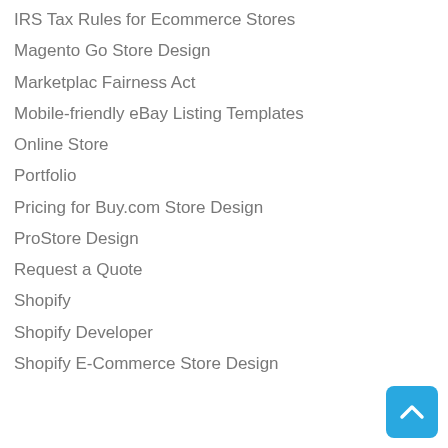IRS Tax Rules for Ecommerce Stores
Magento Go Store Design
Marketplac Fairness Act
Mobile-friendly eBay Listing Templates
Online Store
Portfolio
Pricing for Buy.com Store Design
ProStore Design
Request a Quote
Shopify
Shopify Developer
Shopify E-Commerce Store Design
[Figure (other): Blue rounded square button with white upward chevron arrow, scroll-to-top button]